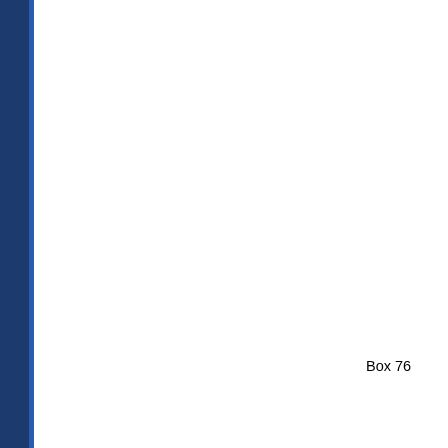Cooper Union, membership in The Society 1859, 2002
County of Bergen, New Jersey, Certificates Commendation, 1993
Finalist, Entrepreneur of the Year Award, 19
Finalist, Entrepreneur of the Year Award, 19
Girl Scouts Outstanding Achievement, 1987
Kathryn Miller Award to Outstanding Women active in Women's Rights Issues in Bergen County, 1989
New Jersey Department of Community Affairs Certificate of Appreciation, 1996
New Jersey Institute of Technology, Certificate of Appreciation, 1997
New Jersey Women of Achievement, 1995
Pioneer Women of the 1990s, 1991
Ramapo College, Recognition, 1994, undated
Saddle River, Mayor's Award, 1994
Socially Responsible 1992 Entrepreneur of the Year Award, finalist, 1992
Women's Rights Information Center, “Elizabeth Cady Stanton ‘The World is Moving’ Award,” 1991
Women's Rights Information Center, Turning Point Person, 1999
Box 76
Cooper Union, professional achievement citation, 1965